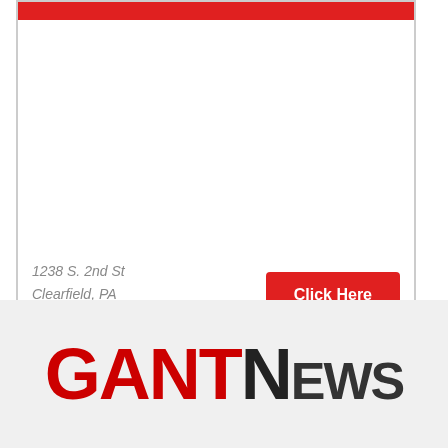[Figure (other): Advertisement box with red top bar, white content area, address text and red Click Here button]
1238 S. 2nd St
Clearfield, PA
814-765-2500
Click Here
[Figure (logo): GANT News logo with GANT in red bold and News in dark gray]